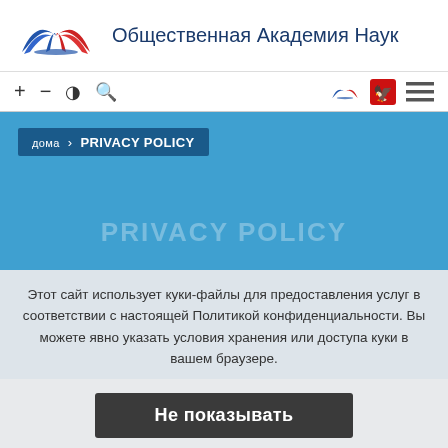Общественная Академия Наук
[Figure (logo): Book/open pages logo with red and blue stylized leaves]
дома › PRIVACY POLICY
PRIVACY POLICY
Этот сайт использует куки-файлы для предоставления услуг в соответствии с настоящей Политикой конфиденциальности. Вы можете явно указать условия хранения или доступа куки в вашем браузере.
Не показывать